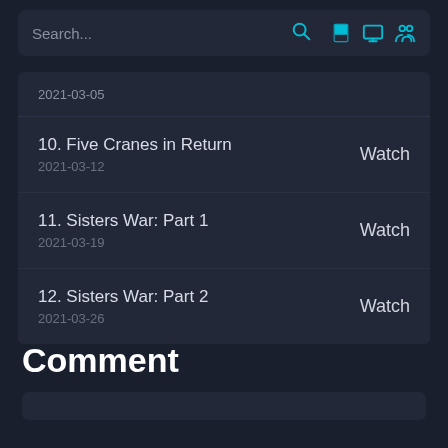Search...
2021-03-05
10. Five Cranes in Return
2021-03-12
Watch
11. Sisters War: Part 1
2021-03-19
Watch
12. Sisters War: Part 2
2021-03-26
Watch
Comment